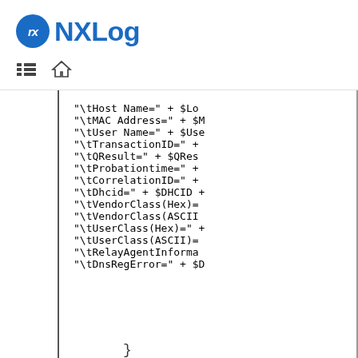NXLog
[Figure (screenshot): Code snippet showing string concatenation lines for log fields: Host Name, MAC Address, User Name, TransactionID, QResult, Probationtime, CorrelationID, Dhcid, VendorClass(Hex), VendorClass(ASCII), UserClass(Hex), UserClass(ASCII), RelayAgentInformation, DnsRegError]
}